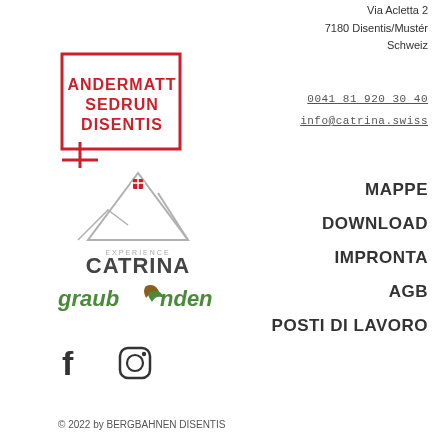Via Acletta 2
7180 Disentis/Mustér
Schweiz
[Figure (logo): Andermatt Sedrun Disentis logo with red border square and plus sign]
0041 81 920 30 40
info@catrina.swiss
[Figure (logo): Experience Catrina mountain logo with grey mountain silhouette and red cross]
MAPPE
DOWNLOAD
IMPRONTA
AGB
[Figure (logo): Graubünden tourism logo in green and brown]
POSTI DI LAVORO
[Figure (logo): Facebook and Instagram social media icons]
© 2022 by BERGBAHNEN DISENTIS